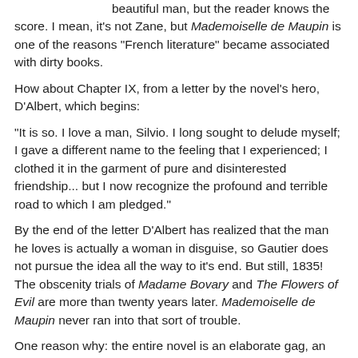beautiful man, but the reader knows the score. I mean, it's not Zane, but Mademoiselle de Maupin is one of the reasons "French literature" became associated with dirty books.
How about Chapter IX, from a letter by the novel's hero, D'Albert, which begins:
"It is so. I love a man, Silvio. I long sought to delude myself; I gave a different name to the feeling that I experienced; I clothed it in the garment of pure and disinterested friendship... but I now recognize the profound and terrible road to which I am pledged."
By the end of the letter D'Albert has realized that the man he loves is actually a woman in disguise, so Gautier does not pursue the idea all the way to it's end. But still, 1835! The obscenity trials of Madame Bovary and The Flowers of Evil are more than twenty years later. Mademoiselle de Maupin never ran into that sort of trouble.
One reason why: the entire novel is an elaborate gag, an